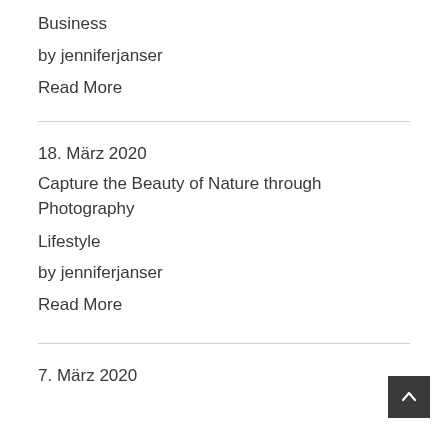Business
by jenniferjanser
Read More
18. März 2020
Capture the Beauty of Nature through Photography
Lifestyle
by jenniferjanser
Read More
7. März 2020